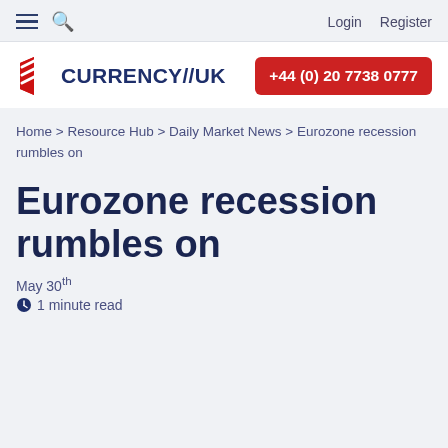Login  Register
[Figure (logo): Currency//UK logo with red chevron/flag icon and dark blue CURRENCY//UK text, plus red phone button showing +44 (0) 20 7738 0777]
Home > Resource Hub > Daily Market News > Eurozone recession rumbles on
Eurozone recession rumbles on
May 30th
1 minute read